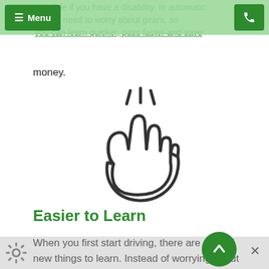possible if you have a disability. In automatic u don't need to worry about gears, so you can learn quicker, pass faster and save
money.
[Figure (illustration): Line-art icon of a hand with two fingers raised making a clicking/snapping gesture with motion lines above]
Easier to Learn
When you first start driving, there are a lot of new things to learn. Instead of worrying about gears as well, in automatic lessons, you can focus all of your attention on learning the rules